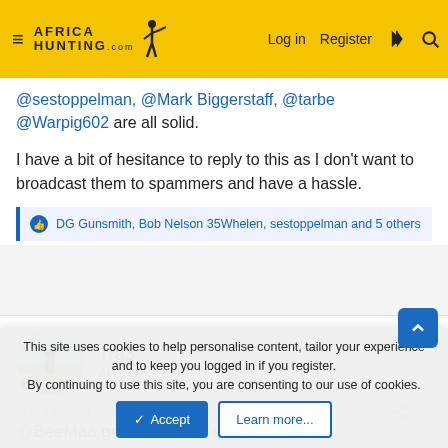Africa Hunting .com — Log in | Register
@sestoppelman, @Mark Biggerstaff, @tarbe @Warpig602 are all solid.
I have a bit of hesitance to reply to this as I don't want to broadcast them to spammers and have a hassle.
DG Gunsmith, Bob Nelson 35Whelen, sestoppelman and 5 others
Tra3
AH elite
May 12, 2021  #8
@BeeMaa gets a thumbs up from me.
This site uses cookies to help personalise content, tailor your experience and to keep you logged in if you register.
By continuing to use this site, you are consenting to our use of cookies.